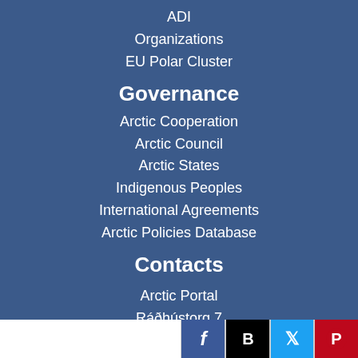ADI
Organizations
EU Polar Cluster
Governance
Arctic Cooperation
Arctic Council
Arctic States
Indigenous Peoples
International Agreements
Arctic Policies Database
Contacts
Arctic Portal
Ráðhústorg 7
600 Akureyri
Iceland
Social media icons: Facebook, Blogger, Twitter, Pinterest